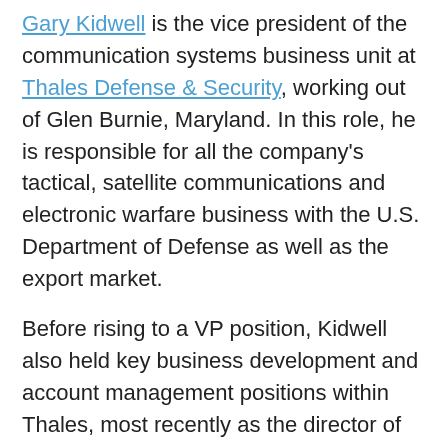Gary Kidwell is the vice president of the communication systems business unit at Thales Defense & Security, working out of Glen Burnie, Maryland. In this role, he is responsible for all the company's tactical, satellite communications and electronic warfare business with the U.S. Department of Defense as well as the export market.
Before rising to a VP position, Kidwell also held key business development and account management positions within Thales, most recently as the director of business development for U.S. DOD programs. In his earlier roles with the company, he managed to develop solid growth strategies and led disciplined opportunity pursuits that resulted in consecutive strategic awards totaling over $100M annually, according to a profile posted on the company website.
Prior to his employment at Thales, Kidwell held senior business development roles with SCI Technology in